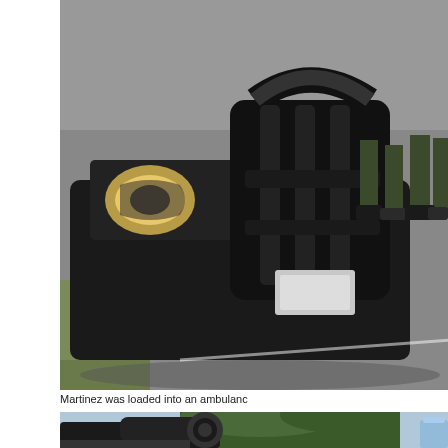[Figure (photo): Photo of a damaged black police/law enforcement vehicle with a push bumper, lying low on pavement. The front end and bull bar are visible. Two people in green/olive uniforms stand in the background on the road. Grass is visible on the left side.]
Martinez was loaded into an ambulanc
[Figure (photo): Photo of a large camera on a mount/vehicle, with trees and a blue sky in the background. A structure with a blue bag/object is visible on the right side.]